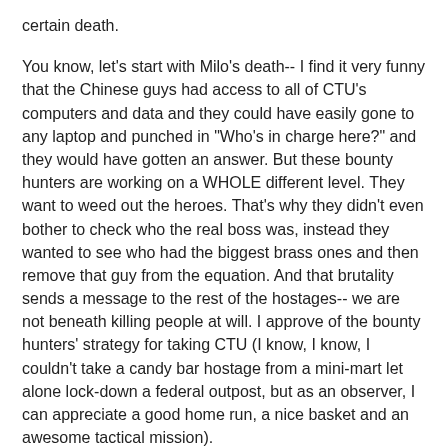certain death.
You know, let's start with Milo's death-- I find it very funny that the Chinese guys had access to all of CTU's computers and data and they could have easily gone to any laptop and punched in "Who's in charge here?" and they would have gotten an answer. But these bounty hunters are working on a WHOLE different level. They want to weed out the heroes. That's why they didn't even bother to check who the real boss was, instead they wanted to see who had the biggest brass ones and then remove that guy from the equation. And that brutality sends a message to the rest of the hostages-- we are not beneath killing people at will. I approve of the bounty hunters' strategy for taking CTU (I know, I know, I couldn't take a candy bar hostage from a mini-mart let alone lock-down a federal outpost, but as an observer, I can appreciate a good home run, a nice basket and an awesome tactical mission).
All the while, we had Jack doing his "John McClane" bit in the dark hallways of CTU. It was good to see Jack peel off a few rounds, but his getting caught shows he has slowed